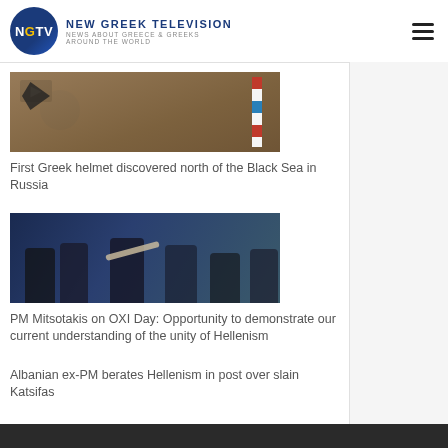NEW GREEK TELEVISION · NEWS ABOUT GREECE & GREEKS AROUND THE WORLD
[Figure (photo): Archaeological excavation showing a Greek helmet discovered in soil, with an arrow marker and a measuring rod with red and white segments visible.]
First Greek helmet discovered north of the Black Sea in Russia
[Figure (photo): PM Mitsotakis shaking hands with crowd of people outdoors on OXI Day celebration.]
PM Mitsotakis on OXI Day: Opportunity to demonstrate our current understanding of the unity of Hellenism
Albanian ex-PM berates Hellenism in post over slain Katsifas